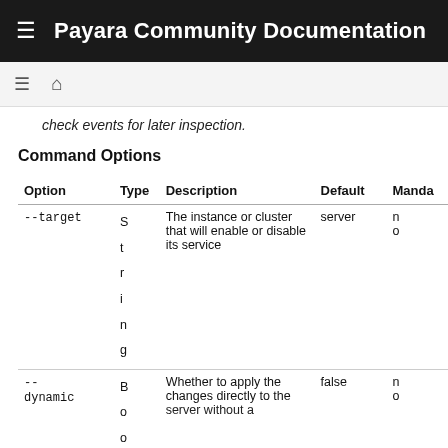Payara Community Documentation
check events for later inspection.
Command Options
| Option | Type | Description | Default | Manda... |
| --- | --- | --- | --- | --- |
| --target | String | The instance or cluster that will enable or disable its service | server | no |
| --dynamic | Bo... | Whether to apply the changes directly to the server without a | false | no |